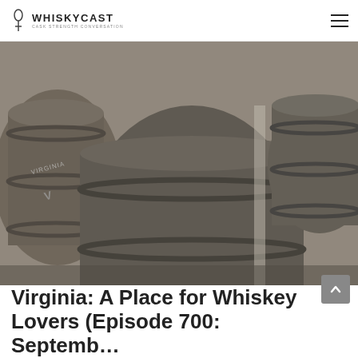WhiskyCast — Cask Strength Conversation
[Figure (photo): Black and white photograph of large wooden whiskey barrels/casks stacked together, with 'Virginia' text visible on one barrel]
Virginia: A Place for Whiskey Lovers (Episode 700: September…